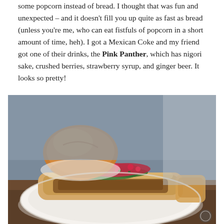some popcorn instead of bread. I thought that was fun and unexpected – and it doesn't fill you up quite as fast as bread (unless you're me, who can eat fistfuls of popcorn in a short amount of time, heh). I got a Mexican Coke and my friend got one of their drinks, the Pink Panther, which has nigori sake, crushed berries, strawberry syrup, and ginger beer. It looks so pretty!
[Figure (photo): Food photo showing a bone marrow dish on a white plate with roasted bread/bun topped with red salsa and herbs, served on a wooden table, with a crusty bread roll in the background.]